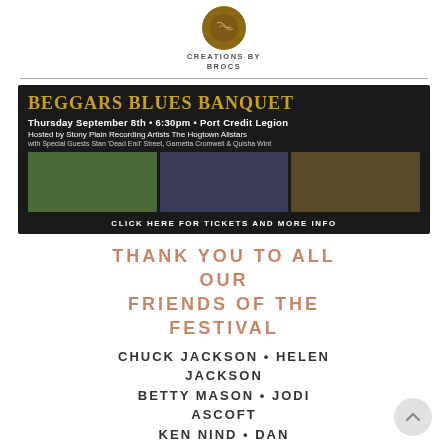[Figure (logo): Creations by Brocs logo — circular brown leather-look emblem above the text CREATIONS BY BROCS]
CREATIONS BY BROCS
[Figure (infographic): Beggars Blues Banquet event banner on dark background. Title: BEGGARS BLUES BANQUET. Thursday September 8th • 6:30pm • Port Credit Legion. Hosted by Stony Plain Recording Artists The Hogtown Allstars with Special Guests Stan 'Dead End' Street, Garnetta Cromwell & Quisha Wint. Photos of performers. CLICK HERE FOR TICKETS AND MORE INFO.]
THANK YOU TO ALL OUR FRIENDS OF THE FESTIVAL
CHUCK JACKSON • HELEN JACKSON BETTY MASON • JODI ASCOFT KEN NIND • DAN MACINTOSH